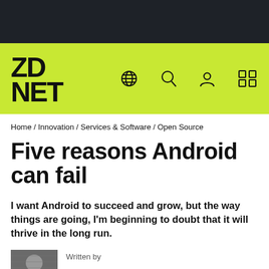ZD NET
Home / Innovation / Services & Software / Open Source
Five reasons Android can fail
I want Android to succeed and grow, but the way things are going, I'm beginning to doubt that it will thrive in the long run.
Written by